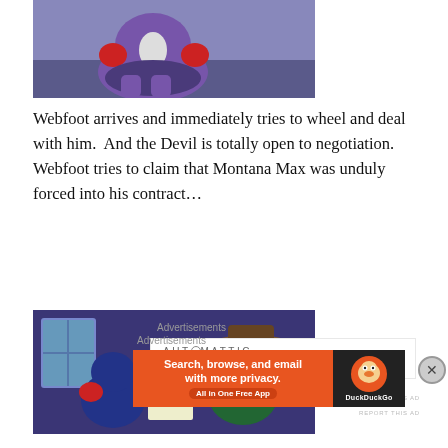[Figure (illustration): Cartoon animation still showing a purple/violet cartoon character (villain) sitting, wearing red gloves, against a dark background.]
Webfoot arrives and immediately tries to wheel and deal with him.  And the Devil is totally open to negotiation. Webfoot tries to claim that Montana Max was unduly forced into his contract…
Advertisements
[Figure (logo): Automattic advertisement: logo text 'AUT⊙MATTIC' and tagline 'Build a better web and a better world.']
REPORT THIS AD
[Figure (illustration): Cartoon animation still showing two cartoon duck characters looking at a document/paper, against a dark blue/purple background.]
Advertisements
[Figure (infographic): DuckDuckGo advertisement banner: orange background with text 'Search, browse, and email with more privacy.' and 'All in One Free App', with DuckDuckGo duck logo on dark background on the right.]
REPORT THIS AD